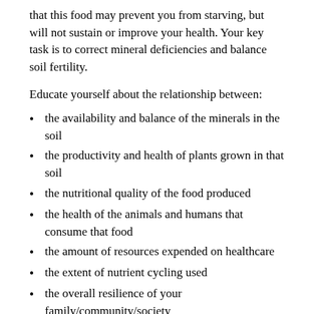that this food may prevent you from starving, but will not sustain or improve your health. Your key task is to correct mineral deficiencies and balance soil fertility.
Educate yourself about the relationship between:
the availability and balance of the minerals in the soil
the productivity and health of plants grown in that soil
the nutritional quality of the food produced
the health of the animals and humans that consume that food
the amount of resources expended on healthcare
the extent of nutrient cycling used
the overall resilience of your family/community/society